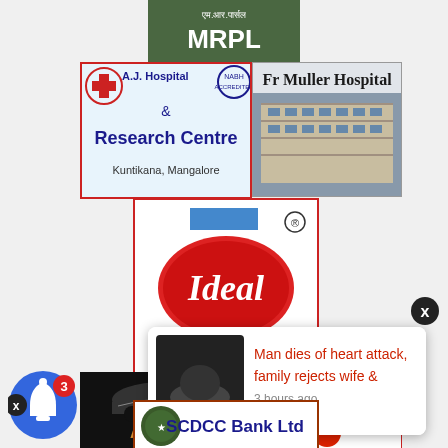[Figure (logo): MRPL logo - green background with white Hindi text and MRPL in white letters]
[Figure (logo): A.J. Hospital & Research Centre logo - blue text with red cross symbol, Kuntikana Mangalore]
[Figure (photo): Fr Muller Hospital - building photo with hospital name text]
[Figure (logo): Ideal Ice Cream logo - red oval with white script text, blue rectangles, registered trademark symbol]
[Figure (logo): AL MA - car dealership logo on dark background]
[Figure (logo): Red and orange decorative logo with sunburst/umbrella design]
[Figure (screenshot): Notification popup: Man dies of heart attack, family rejects wife & - 3 hours ago, with dark thumbnail image]
[Figure (logo): SCDCC Bank Ltd logo with emblem]
[Figure (infographic): Blue notification bell icon with badge showing 3, X close button overlay]